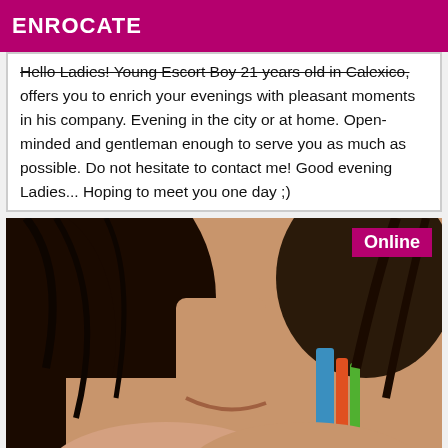ENROCATE
Hello Ladies! Young Escort Boy 21 years old in Calexico, offers you to enrich your evenings with pleasant moments in his company. Evening in the city or at home. Open-minded and gentleman enough to serve you as much as possible. Do not hesitate to contact me! Good evening Ladies... Hoping to meet you one day ;)
[Figure (photo): Close-up photo of a woman with dark hair wearing a colorful bikini top, cropped to show neck and chest area. An 'Online' badge appears in the top right corner.]